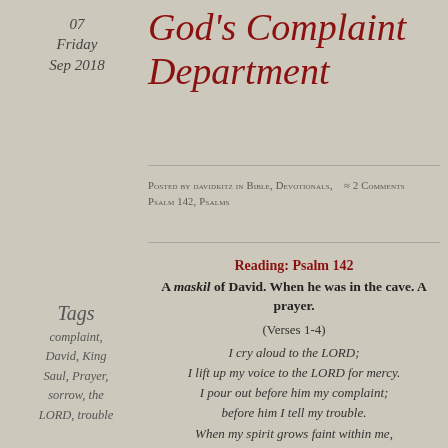07 Friday Sep 2018
God's Complaint Department
Posted by davidkitz in Bible, Devotionals, ≈ 2 Comments Psalm 142, Psalms
Reading: Psalm 142
A maskil of David. When he was in the cave. A prayer.
(Verses 1-4)
Tags
complaint, David, King Saul, Prayer, sorrow, the LORD, trouble
I cry aloud to the LORD; I lift up my voice to the LORD for mercy. I pour out before him my complaint; before him I tell my trouble. When my spirit grows faint within me, it is you who watch over my way. In the path where I walk people have hidden a snare for me.